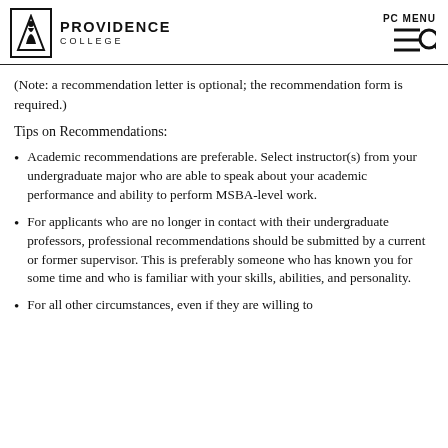PROVIDENCE COLLEGE | PC MENU
(Note: a recommendation letter is optional; the recommendation form is required.)
Tips on Recommendations:
Academic recommendations are preferable. Select instructor(s) from your undergraduate major who are able to speak about your academic performance and ability to perform MSBA-level work.
For applicants who are no longer in contact with their undergraduate professors, professional recommendations should be submitted by a current or former supervisor. This is preferably someone who has known you for some time and who is familiar with your skills, abilities, and personality.
For all other circumstances, even if they are willing to...